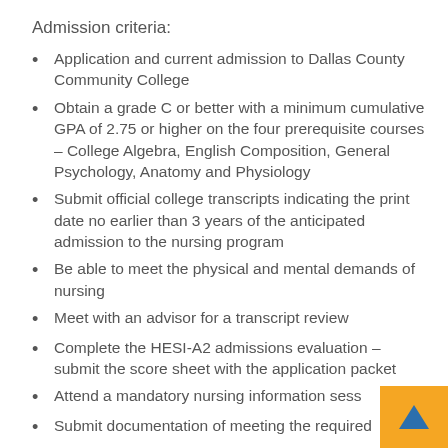Admission criteria:
Application and current admission to Dallas County Community College
Obtain a grade C or better with a minimum cumulative GPA of 2.75 or higher on the four prerequisite courses – College Algebra, English Composition, General Psychology, Anatomy and Physiology
Submit official college transcripts indicating the print date no earlier than 3 years of the anticipated admission to the nursing program
Be able to meet the physical and mental demands of nursing
Meet with an advisor for a transcript review
Complete the HESI-A2 admissions evaluation – submit the score sheet with the application packet
Attend a mandatory nursing information sess…
Submit documentation of meeting the required…